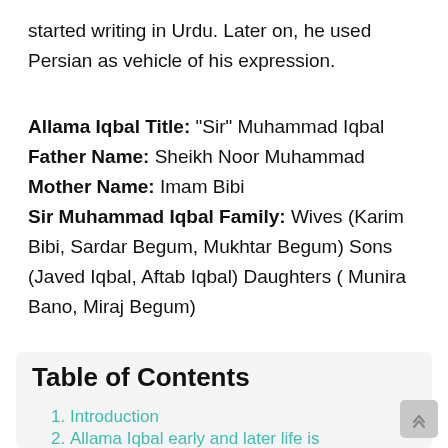started writing in Urdu. Later on, he used Persian as vehicle of his expression.
Allama Iqbal Title: “Sir” Muhammad Iqbal Father Name: Sheikh Noor Muhammad Mother Name: Imam Bibi Sir Muhammad Iqbal Family: Wives (Karim Bibi, Sardar Begum, Mukhtar Begum) Sons (Javed Iqbal, Aftab Iqbal) Daughters ( Munira Bano, Miraj Begum)
Table of Contents
Introduction
Allama Iqbal early and later life is